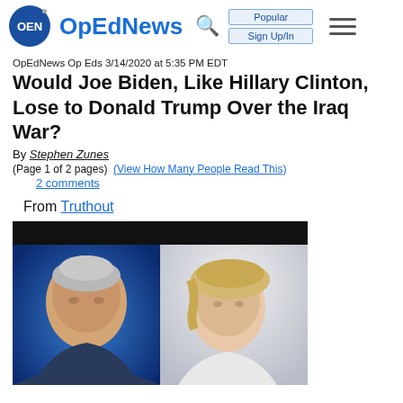OpEdNews
OpEdNews Op Eds 3/14/2020 at 5:35 PM EDT
Would Joe Biden, Like Hillary Clinton, Lose to Donald Trump Over the Iraq War?
By Stephen Zunes
(Page 1 of 2 pages)  (View How Many People Read This)
2 comments
From Truthout
[Figure (photo): Side-by-side photos of Joe Biden (left) and Hillary Clinton (right) against dark background header]